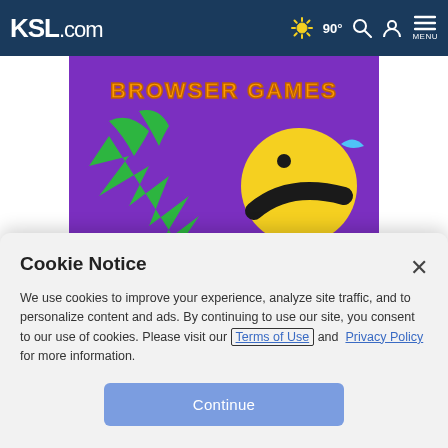KSL.com  90° [search] [account] MENU
[Figure (photo): Advertisement banner showing a Halloween-themed game with green shapes and a yellow emoji-like ball on a purple background. Text reads 'BROWSER GAMES'.]
Advertise with us    Report ad
KSL WEATHER FORECAST
[Figure (screenshot): KSL Weather Specialists video thumbnail showing 'CURRENT WEATHER PATTERN' title bar with KSL logo on dark blue background.]
Cookie Notice
We use cookies to improve your experience, analyze site traffic, and to personalize content and ads. By continuing to use our site, you consent to our use of cookies. Please visit our Terms of Use and  Privacy Policy for more information.
Continue